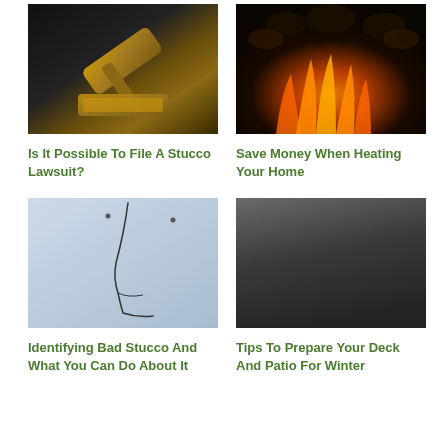[Figure (photo): A wooden judge's gavel resting on a dark surface]
Is It Possible To File A Stucco Lawsuit?
[Figure (photo): Burning embers and flames, dark charred material on fire]
Save Money When Heating Your Home
[Figure (photo): Cracked stucco or plaster wall surface with a visible crack line]
Identifying Bad Stucco And What You Can Do About It
[Figure (photo): A dark gray deck or patio surface]
Tips To Prepare Your Deck And Patio For Winter